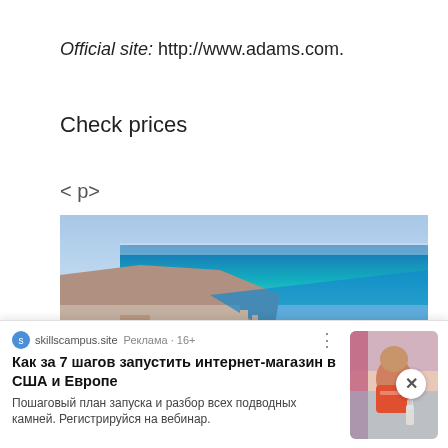Official site: http://www.adams.com.
Check prices
< p>
[Figure (photo): Aerial photograph of a Mediterranean coastal city with turquoise sea, beaches, and dense urban development.]
[Figure (infographic): Advertisement banner from skillscampus.site with Russian text: 'Как за 7 шагов запустить интернет-магазин в США и Европе' and description 'Пошаговый план запуска и разбор всех подводных камней. Регистрируйся на вебинар.' with a photo of a man at a resort.]